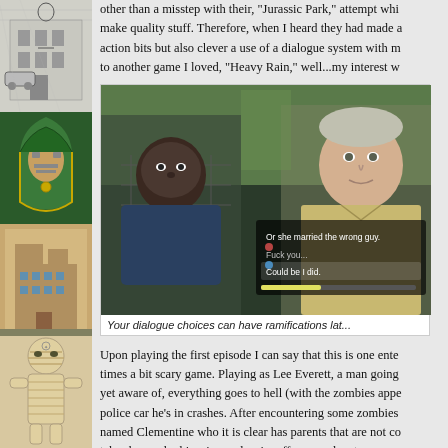[Figure (illustration): Sidebar with four illustrated panels: black-and-white building/figure illustration, Dr. Doom Marvel character in green hood, pixelated building scene, mummy-like figure]
other than a misstep with their, "Jurassic Park," attempt which...make quality stuff. Therefore, when I heard they had made a...action bits but also clever a use of a dialogue system with m...to another game I loved, "Heavy Rain," well...my interest w...
[Figure (screenshot): Game screenshot from The Walking Dead showing two characters in a police car with dialogue choices on screen: 'Or she married the wrong guy.', 'Fuck you...', 'Could be I did.']
Your dialogue choices can have ramifications lat...
Upon playing the first episode I can say that this is one ente...times a bit scary game. Playing as Lee Everett, a man going...yet aware of, everything goes to hell (with the zombies appe...police car he's in crashes. After encountering some zombies...named Clementine who it is clear has parents that are not co...takes her under his wing and we're off on an adventure.